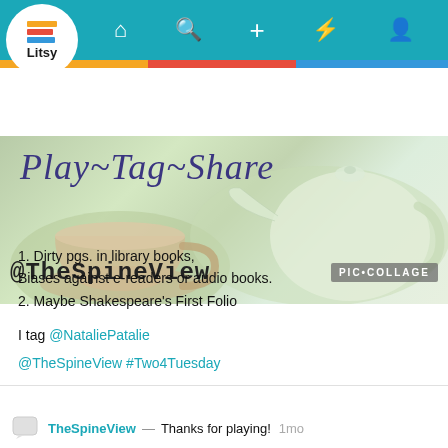[Figure (screenshot): Litsy app navigation bar with logo (stacked colorful books and Litsy text in white circle), home icon, search icon, plus icon, lightning bolt icon, and person icon on teal background]
[Figure (photo): Banner image with tea cup and teapot in soft green tones, overlaid with italic text 'Play~Tag~Share' in dark blue, '@TheSpineView' in monospace, and 'PIC•COLLAGE' badge]
1. Dirty pgs. in library books,
Biases against e-readers or audio books.
2. Maybe Shakespeare's First Folio
I tag @NataliePatalie
@TheSpineView #Two4Tuesday
TheSpineView — Thanks for playing! 1mo